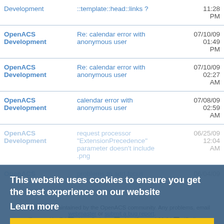| Forum | Subject | Date |
| --- | --- | --- |
| OpenACS Development | ::template::head::links ? | 11:28 PM |
| OpenACS Development | Re: calendar error with anonymous user | 07/10/09 01:49 PM |
| OpenACS Development | Re: calendar error with anonymous user | 07/10/09 02:27 AM |
| OpenACS Development | calendar error with anonymous user | 07/08/09 02:59 AM |
| OpenACS Development | request processor "ExtensionPrecedence" parameter doesn't include .png | 06/25/09 12:04 AM |
| OpenACS | problems to add focus | 06/04/09 |
This website uses cookies to ensure you get the best experience on our website
Learn more
Got it!
This website is maintained by the OpenACS community. Any problems, email webmaster or submit a bug report.
(Powered by Tcl, Next Scripting, NaviServer 4.99.24, IPv4)